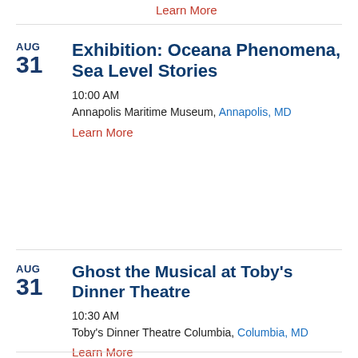Learn More
AUG 31 Exhibition: Oceana Phenomena, Sea Level Stories
10:00 AM
Annapolis Maritime Museum, Annapolis, MD
Learn More
AUG 31 Ghost the Musical at Toby's Dinner Theatre
10:30 AM
Toby's Dinner Theatre Columbia, Columbia, MD
Learn More
AUG Ghost the Musical at